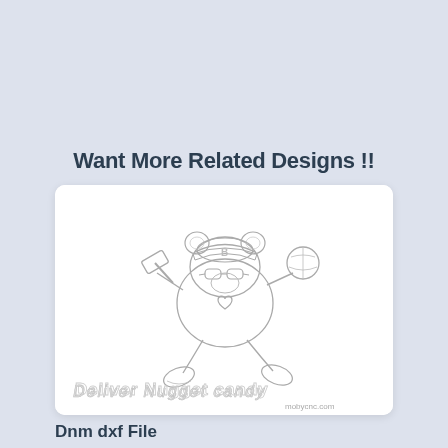Want More Related Designs !!
[Figure (illustration): Line art illustration of a cartoon bear character wearing a cap and sunglasses, holding a hammer, with a ball nearby. Below the character is decorative text reading 'Deliver Nugget candy' and 'mobycnc.com' in the bottom right corner.]
Dnm dxf File